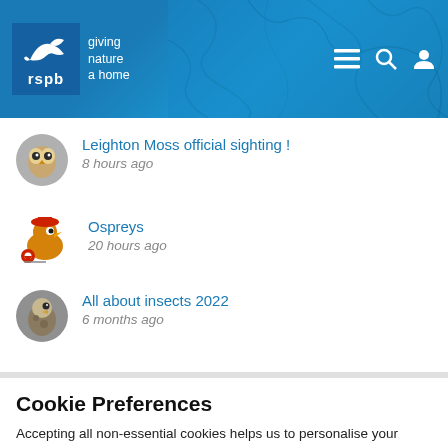[Figure (logo): RSPB logo with bird silhouette and tagline 'giving nature a home' on blue background with cracked texture]
Leighton Moss official sighting !
8 hours ago
Ospreys
20 hours ago
All about insects 2022
6 months ago
Cookie Preferences
Accepting all non-essential cookies helps us to personalise your experience
EDIT SETTINGS
ACCEPT ALL